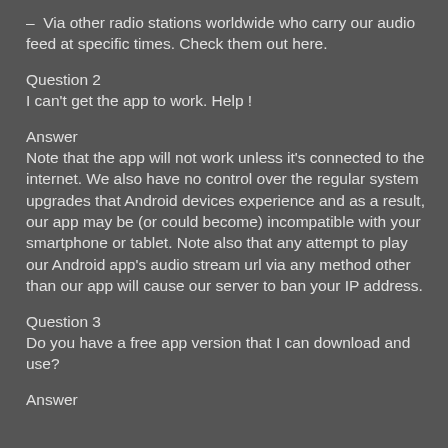–  Via other radio stations worldwide who carry our audio feed at specific times. Check them out here.
Question 2
I can't get the app to work. Help !
Answer
Note that the app will not work unless it's connected to the internet. We also have no control over the regular system upgrades that Android devices experience and as a result, our app may be (or could become) incompatible with your smartphone or tablet. Note also that any attempt to play our Android app's audio stream url via any method other than our app will cause our server to ban your IP address.
Question 3
Do you have a free app version that I can download and use?
Answer